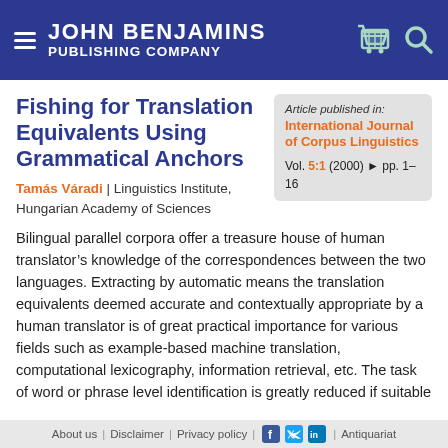JOHN BENJAMINS PUBLISHING COMPANY
Fishing for Translation Equivalents Using Grammatical Anchors
Tamás Váradi | Linguistics Institute, Hungarian Academy of Sciences
Article published in: International Journal of Corpus Linguistics Vol. 5:1 (2000) ► pp. 1–16
Bilingual parallel corpora offer a treasure house of human translator's knowledge of the correspondences between the two languages. Extracting by automatic means the translation equivalents deemed accurate and contextually appropriate by a human translator is of great practical importance for various fields such as example-based machine translation, computational lexicography, information retrieval, etc. The task of word or phrase level identification is greatly reduced if suitable
About us | Disclaimer | Privacy policy | Antiquariat